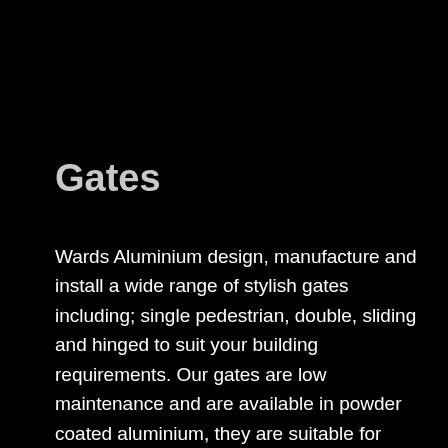Gates
Wards Aluminium design, manufacture and install a wide range of stylish gates including; single pedestrian, double, sliding and hinged to suit your building requirements. Our gates are low maintenance and are available in powder coated aluminium, they are suitable for both residential and commercial applications. The pedestrian or entry gates come in an extensive range of contemporary designs. The products are also powder coated with the latest finishing technology.